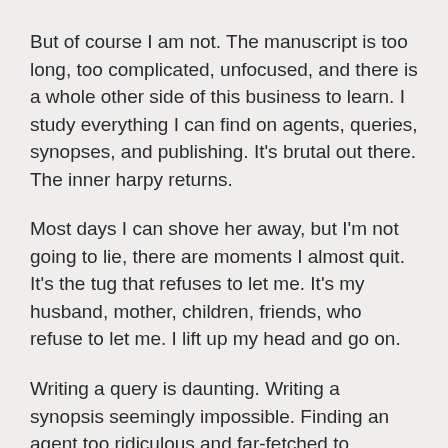But of course I am not. The manuscript is too long, too complicated, unfocused, and there is a whole other side of this business to learn. I study everything I can find on agents, queries, synopses, and publishing. It's brutal out there. The inner harpy returns.
Most days I can shove her away, but I'm not going to lie, there are moments I almost quit. It's the tug that refuses to let me. It's my husband, mother, children, friends, who refuse to let me. I lift up my head and go on.
Writing a query is daunting. Writing a synopsis seemingly impossible. Finding an agent too ridiculous and far-fetched to consider. Instead of being discouraged, I open my arms. Published or not, I have held nothing back, and as I mail the manuscript, I know there is no disgrace in believing.